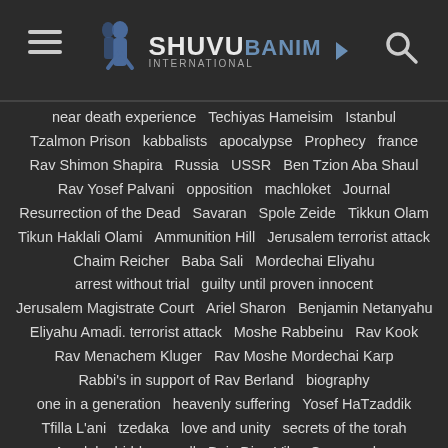Shuvu Banim International
near death experience  Techiyas Hameisim  Istanbul
Tzalmon Prison  kabbalists  apocalypse  Prophecy  france
Rav Shimon Shapira  Russia  USSR  Ben Tzion Aba Shaul
Rav Yosef Palvani  opposition  machloket  Journal
Resurrection of the Dead  Savaran  Spole Zeide  Tikkun Olam
Tikun Haklali Olami  Ammunition Hill  Jerusalem terrorist attack
Chaim Reicher  Baba Sali  Mordechai Eliyahu
arrest without trial  guilty until proven innocent
Jerusalem Magistrate Court  Ariel Sharon  Benjamin Netanyahu
Eliyahu Amadi. terrorist attack  Moshe Rabbeinu  Rav Kook
Rav Menachem Kluger  Rav Moshe Mordechai Karp
Rabbi's in support of Rav Berland  biography
one in a generation  heavenly suffering  Yosef HaTzaddik
Tfilla L'ani  tzedaka  love and unity  secrets of the torah
Amalek  hidden scroll  Beis Din  Vilna Gaon  zohar
Rabbi Yoram Abergel  Knesset Chizkiyahu  Thanking Hashem
Young Rabbi Berland  life after death  revital levy
Rav Binyamin Zev Heshin  kever rachel  Breslov zealots
Rav Yitzhak Meir Morgenstern  lamad vav tzaddik